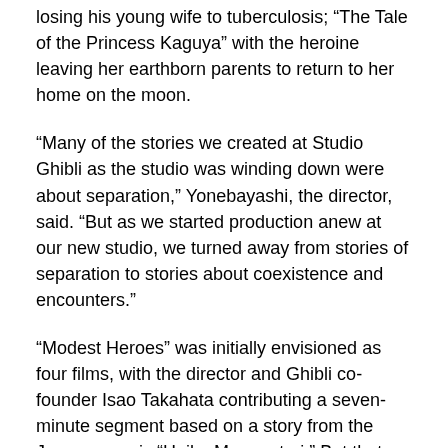losing his young wife to tuberculosis; “The Tale of the Princess Kaguya” with the heroine leaving her earthborn parents to return to her home on the moon.
“Many of the stories we created at Studio Ghibli as the studio was winding down were about separation,” Yonebayashi, the director, said. “But as we started production anew at our new studio, we turned away from stories of separation to stories about coexistence and encounters.”
“Modest Heroes” was initially envisioned as four films, with the director and Ghibli co-founder Isao Takahata contributing a seven-minute segment based on a story from the Japanese epic “Heike Monogatari.” But that project was canceled when Takahata died in 2018 at 82. Nishimura worked with the director during the last 10 years of his life, and said he was